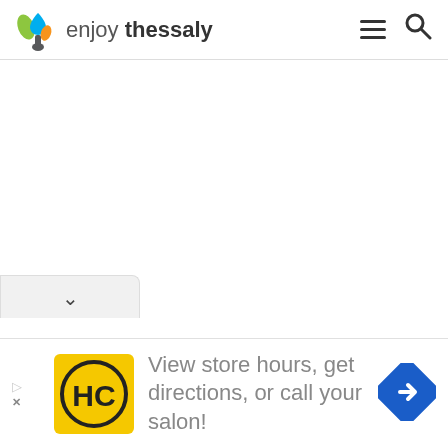enjoy thessaly
[Figure (screenshot): White content area, blank page body of enjoythessaly.com website]
[Figure (other): Tab bar with chevron/down arrow at bottom left of page]
[Figure (other): Advertisement banner: HC logo, text 'View store hours, get directions, or call your salon!', blue diamond arrow icon, ad triangle and X markers]